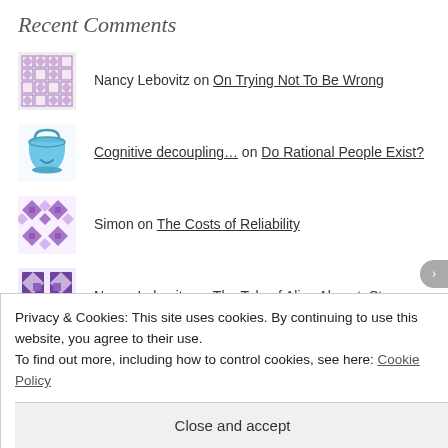Recent Comments
Nancy Lebovitz on On Trying Not To Be Wrong
Cognitive decoupling… on Do Rational People Exist?
Simon on The Costs of Reliability
Nancy Lebovitz on The Tale of Alice Almost: Stra…
Nancy Lebovitz on Asking Permission
Privacy & Cookies: This site uses cookies. By continuing to use this website, you agree to their use.
To find out more, including how to control cookies, see here: Cookie Policy
Close and accept